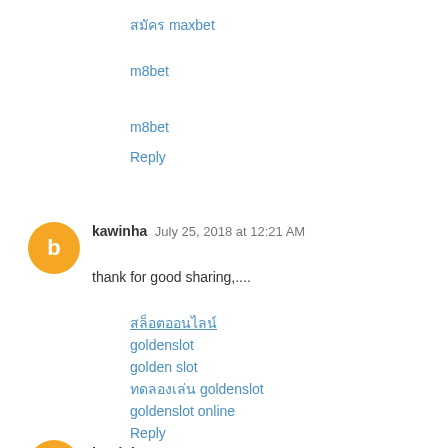สมัคร maxbet
m8bet
m8bet
Reply
kawinha  July 25, 2018 at 12:21 AM
thank for good sharing,....
สล็อตออนไลน์
goldenslot
golden slot
ทดลองเล่น goldenslot
goldenslot online
Reply
kawinha  November 3, 2018 at 1:23 AM